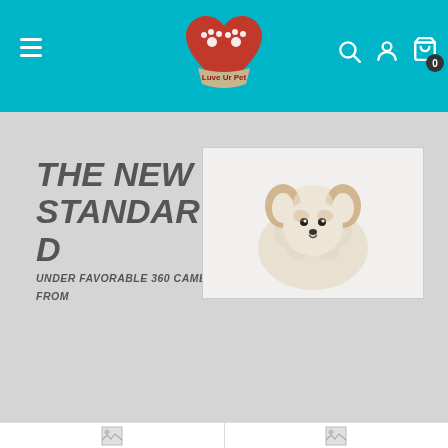[Figure (logo): Luve Ur Pet logo: red heart with paw prints, banner with text 'Luve Ur Pet']
THE NEW STANDAR D
UNDER FAVORABLE 360 CAMERAS FROM
[Figure (photo): Photo of a small fluffy white and brown puppy on white background]
[Figure (photo): Placeholder image thumbnail (mountain/image icon)]
[Figure (photo): Placeholder image thumbnail (mountain/image icon)]